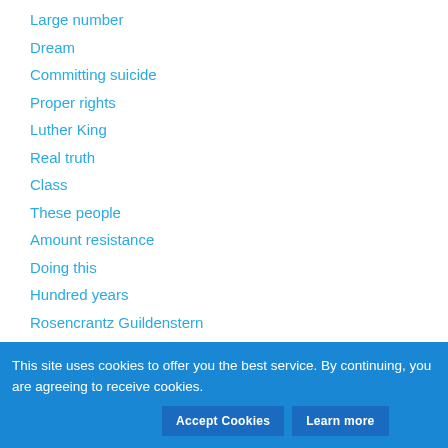Large number
Dream
Committing suicide
Proper rights
Luther King
Real truth
Class
These people
Amount resistance
Doing this
Hundred years
Rosencrantz Guildenstern
Federal government
Market
This site uses cookies to offer you the best service. By continuing, you are agreeing to receive cookies.